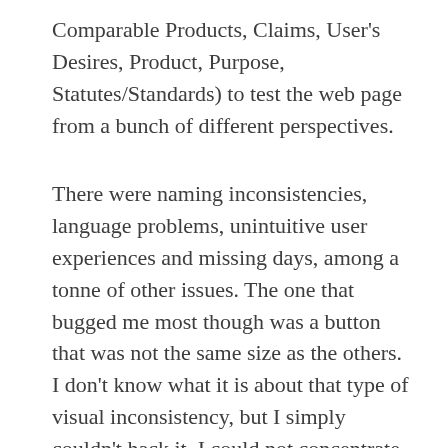Comparable Products, Claims, User's Desires, Product, Purpose, Statutes/Standards) to test the web page from a bunch of different perspectives.
There were naming inconsistencies, language problems, unintuitive user experiences and missing days, among a tonne of other issues. The one that bugged me most though was a button that was not the same size as the others. I don't know what it is about that type of visual inconsistency, but I simply couldn't hack it. I could not concentrate until I had fixed it, and then fixed the next thing too. And the next, and the next until quite soon it had gotten out of hand…